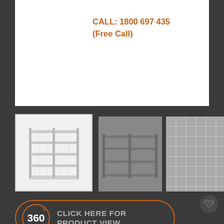[Figure (photo): White product image area with call number text overlay]
CALL: 1800 697 435
(Free Call)
[Figure (photo): Thumbnail 1: White shelving unit, front view]
[Figure (photo): Thumbnail 2: Grey shelving unit, angled view]
[Figure (photo): Thumbnail 3: Close-up mesh back panel]
[Figure (infographic): 360 degree product view button with circular arrow icon]
HOME / SHOP / RETAIL GONDOLA SHELVING / MEDIUM DUTY MESH BACK SHELVING / DOUBLE SIDED
900W × 1500H × 700D- Double Sided Mesh Back Shelving Starter Bay With Base Shelf